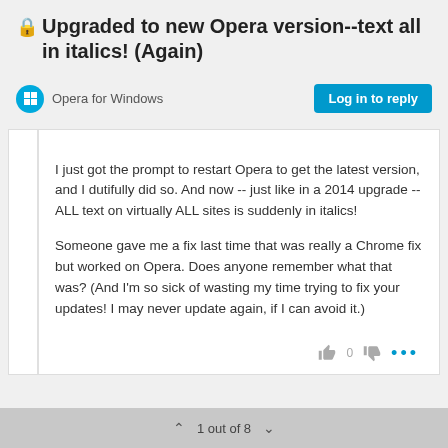🔒 Upgraded to new Opera version--text all in italics! (Again)
Opera for Windows
I just got the prompt to restart Opera to get the latest version, and I dutifully did so. And now -- just like in a 2014 upgrade -- ALL text on virtually ALL sites is suddenly in italics!

Someone gave me a fix last time that was really a Chrome fix but worked on Opera. Does anyone remember what that was? (And I'm so sick of wasting my time trying to fix your updates! I may never update again, if I can avoid it.)
1 out of 8